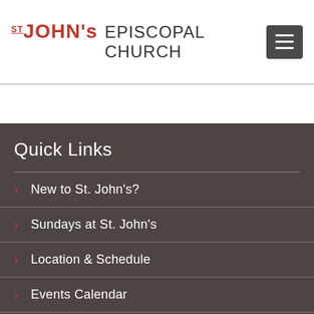ST JOHN's EPISCOPAL CHURCH
Quick Links
New to St. John's?
Sundays at St. John's
Location & Schedule
Events Calendar
Pledge Campaign